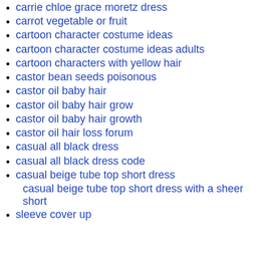carrie chloe grace moretz dress
carrot vegetable or fruit
cartoon character costume ideas
cartoon character costume ideas adults
cartoon characters with yellow hair
castor bean seeds poisonous
castor oil baby hair
castor oil baby hair grow
castor oil baby hair growth
castor oil hair loss forum
casual all black dress
casual all black dress code
casual beige tube top short dress
casual beige tube top short dress with a sheer short sleeve cover up